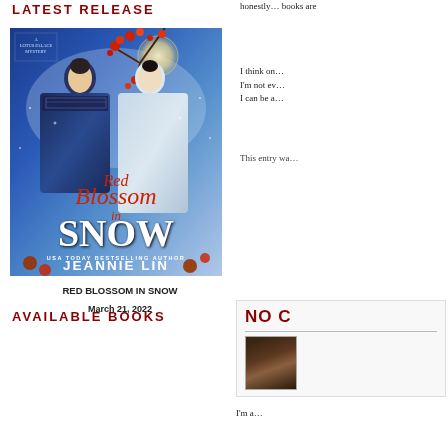LATEST RELEASE
[Figure (photo): Book cover of 'Red Blossom in Snow' by Jeannie Lin, showing a man and woman in traditional Asian costume facing each other against a moonlit snowy background with red blossoms. Text on cover: 'A Lotus Palace Mystery', 'Red Blossom in Snow', 'USA Today Bestselling Author Jeannie Lin'.]
RED BLOSSOM IN SNOW
March 21, 2022
AVAILABLE BOOKS
honestly… books are
I think on… I'm not ev… I can be a…
This entry wa…
[Figure (other): Sidebar box with 'NO C' text in dark red and a portrait photo of a person.]
I'm a…